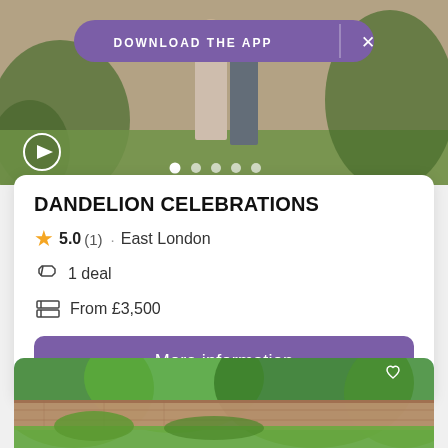[Figure (screenshot): Top photo showing a couple at a wedding outdoors, with a purple 'DOWNLOAD THE APP' banner overlay, a play button, and carousel dots]
DANDELION CELEBRATIONS
5.0 (1) · East London
1 deal
From £3,500
More information
[Figure (photo): Bottom photo showing an outdoor garden setting with greenery and a brick wall, partially visible]